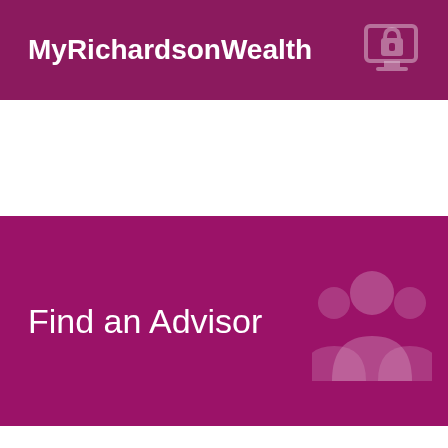[Figure (infographic): Purple banner with text 'MyRichardsonWealth' and a padlock/computer icon on the right]
[Figure (infographic): Dark purple banner with text 'Find an Advisor' and a group of people icon on the right]
[Figure (logo): IIROC logo with dot grid and text 'Regulated by Investment Industry Regulatory Organization of Canada' on a light grey background]
IIROC Advisor Report
Member of the Canadian